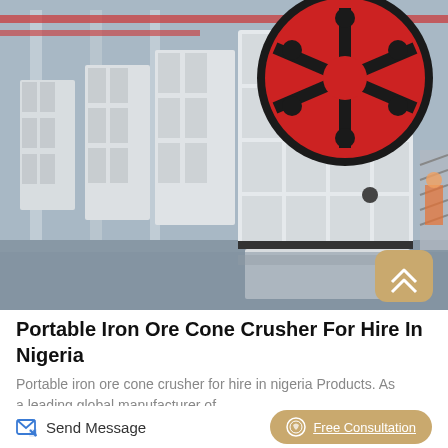[Figure (photo): Industrial jaw crushers in a factory setting — large white/cream-colored jaw crusher machines lined up in a warehouse, with a prominent red flywheel visible on the nearest unit. Red overhead crane rails visible in the background.]
Portable Iron Ore Cone Crusher For Hire In Nigeria
Portable iron ore cone crusher for hire in nigeria Products. As a leading global manufacturer of